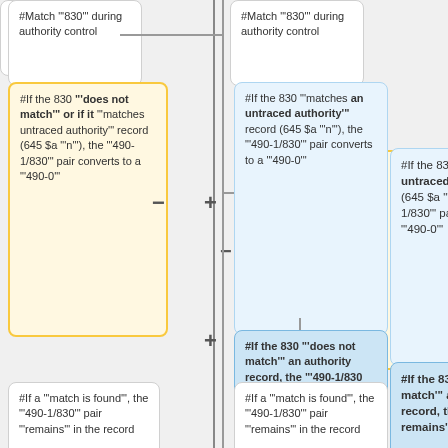[Figure (flowchart): Flowchart showing authority control matching logic for MARC 830 fields. Left column shows conditions for when 830 does not match or matches untraced authority, right column shows parallel outcomes. Boxes connected with + and - symbols indicating branching logic.]
#Match "'830'" during authority control
#Match "'830'" during authority control
#If the 830 "'does not match'" or if it "'matches untraced authority'" record (645 $a "'n'"), the "'490-1/830'" pair converts to a "'490-0'"
#If the 830 "'matches an untraced authority'" record (645 $a "'n'"), the "'490-1/830'" pair converts to a "'490-0'"
#If the 830 "'does not match'" an authority record, the "'490-1/830 remains'" in the record
#If a "'match is found'", the "'490-1/830'" pair "'remains'" in the record
#If a "'match is found'", the "'490-1/830'" pair "'remains'" in the record